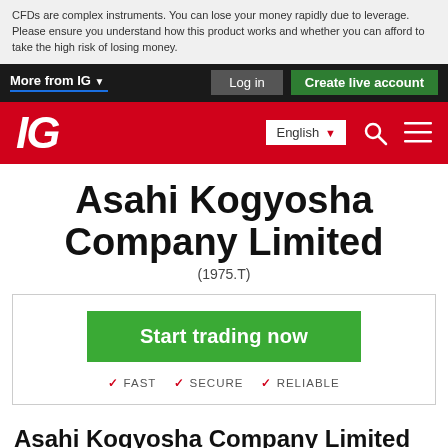CFDs are complex instruments. You can lose your money rapidly due to leverage. Please ensure you understand how this product works and whether you can afford to take the high risk of losing money.
More from IG   Log in   Create live account
IG  English  [search] [menu]
Asahi Kogyosha Company Limited (1975.T)
[Figure (other): Start trading now button with FAST, SECURE, RELIABLE checkmarks]
Asahi Kogyosha Company Limited